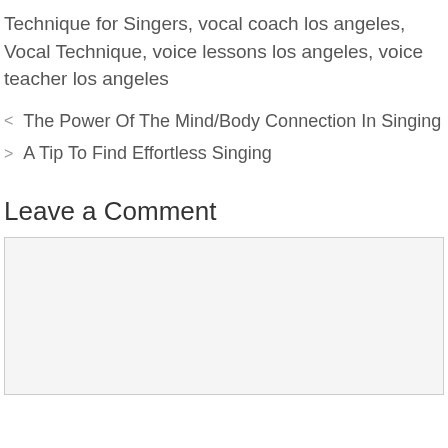Technique for Singers, vocal coach los angeles, Vocal Technique, voice lessons los angeles, voice teacher los angeles
< The Power Of The Mind/Body Connection In Singing
> A Tip To Find Effortless Singing
Leave a Comment